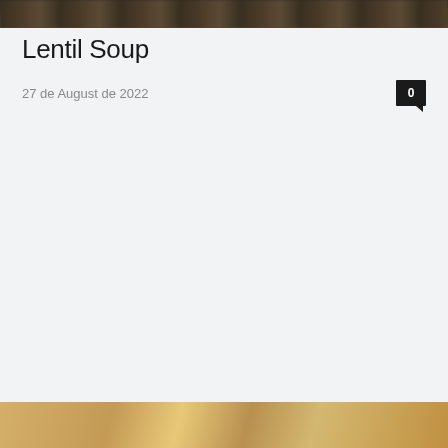[Figure (photo): Top portion of a food photo showing baked goods or bread, partially cropped at the top of the page]
Lentil Soup
27 de August de 2022
[Figure (photo): Bottom portion of a food photo showing lentil soup or similar dish, partially cropped at the bottom of the page]